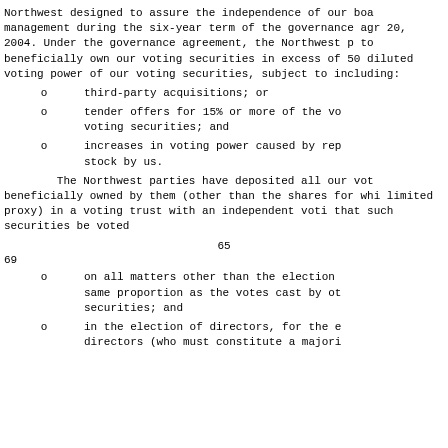Northwest designed to assure the independence of our boa management during the six-year term of the governance ag 20, 2004. Under the governance agreement, the Northwest to beneficially own our voting securities in excess of 5 diluted voting power of our voting securities, subject t including:
o        third-party acquisitions; or
o        tender offers for 15% or more of the vo voting securities; and
o        increases in voting power caused by re stock by us.
The Northwest parties have deposited all our vo beneficially owned by them (other than the shares for wh limited proxy) in a voting trust with an independent vot that such securities be voted
65
69
o        on all matters other than the election same proportion as the votes cast by o securities; and
o        in the election of directors, for the directors (who must constitute a major